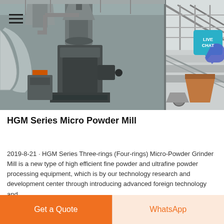[Figure (photo): Industrial facility interior showing HGM Series Micro Powder Mill equipment with large pipes, grinding machinery, conveyors, and industrial infrastructure in a factory setting. Hamburger menu icon top-left, LIVE CHAT bubble top-right.]
HGM Series Micro Powder Mill
2019-8-21 · HGM Series Three-rings (Four-rings) Micro-Powder Grinder Mill is a new type of high efficient fine powder and ultrafine powder processing equipment, which is by our technology research and development center through introducing advanced foreign technology and
Get a Quote
WhatsApp